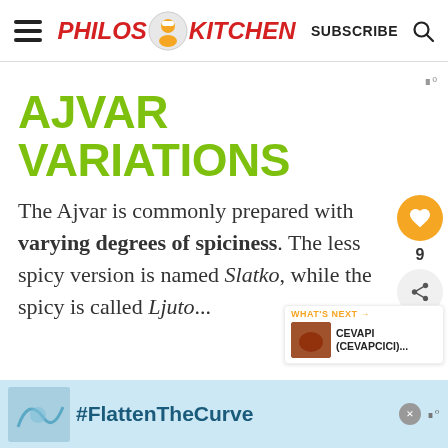PHILOS KITCHEN — SUBSCRIBE (search icon)
AJVAR VARIATIONS
The Ajvar is commonly prepared with varying degrees of spiciness. The less spicy version is named Slatko, while the spicy is called Ljuto...
[Figure (screenshot): What's Next promotional box showing CEVAPI (CEVAPCICI)... with orange header and food thumbnail]
[Figure (screenshot): Ad banner at bottom showing #FlattenTheCurve with image of hands washing, light blue background]